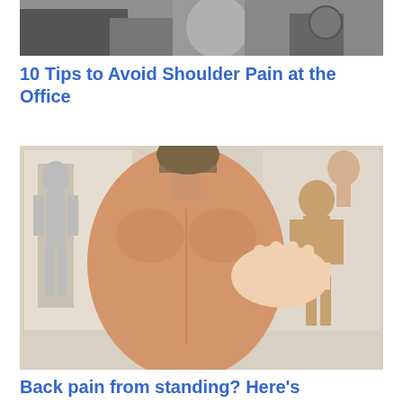[Figure (photo): Black and white photo showing a person at an office desk, partially visible, likely showing shoulder or upper body area]
10 Tips to Avoid Shoulder Pain at the Office
[Figure (photo): A shirtless person viewed from behind with a hand touching/examining their upper back/shoulder area. Anatomical posters visible in background showing skeleton and muscle diagrams.]
Back pain from standing? Here's